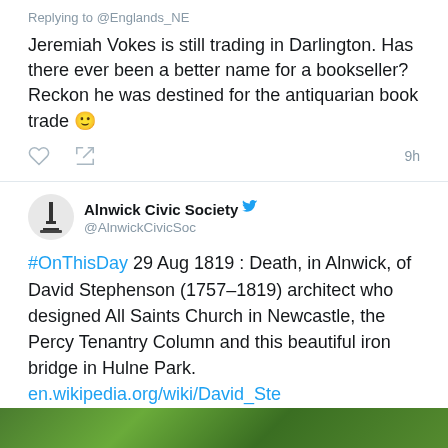Replying to @Englands_NE
Jeremiah Vokes is still trading in Darlington. Has there ever been a better name for a bookseller? Reckon he was destined for the antiquarian book trade 🙂
9h
Alnwick Civic Society @AlnwickCivicSoc
#OnThisDay 29 Aug 1819 : Death, in Alnwick, of David Stephenson (1757–1819) architect who designed All Saints Church in Newcastle, the Percy Tenantry Column and this beautiful iron bridge in Hulne Park.
en.wikipedia.org/wiki/David_Ste
...
[Figure (photo): Green foliage photo strip at bottom of page]